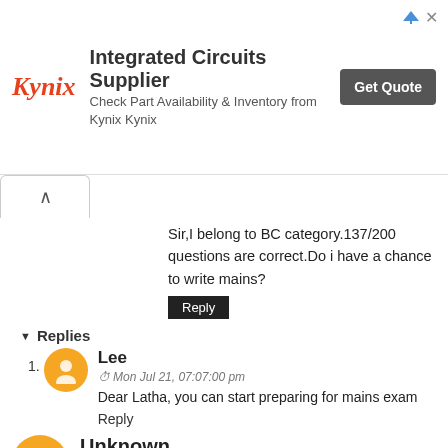[Figure (other): Kynix Integrated Circuits Supplier advertisement banner with logo, description 'Check Part Availability & Inventory from Kynix Kynix', and a 'Get Quote' button]
Sir,I belong to BC category.137/200 questions are correct.Do i have a chance to write mains?
Reply
Replies
Lee
Mon Jul 21, 07:07:00 pm
Dear Latha, you can start preparing for mains exam
Reply
Unknown
Mon Jul 21, 12:33:00 pm
I got 132 correct in group1 I am MBC male. can i clear prelims.
Reply